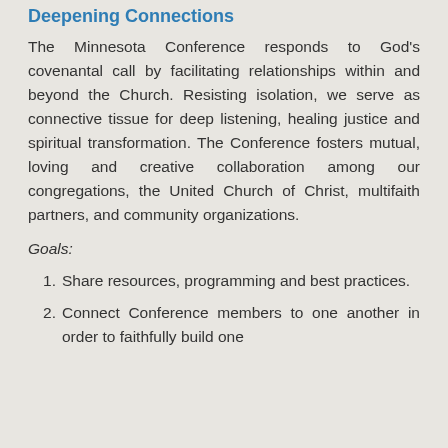Deepening Connections
The Minnesota Conference responds to God's covenantal call by facilitating relationships within and beyond the Church. Resisting isolation, we serve as connective tissue for deep listening, healing justice and spiritual transformation. The Conference fosters mutual, loving and creative collaboration among our congregations, the United Church of Christ, multifaith partners, and community organizations.
Goals:
Share resources, programming and best practices.
Connect Conference members to one another in order to faithfully build one